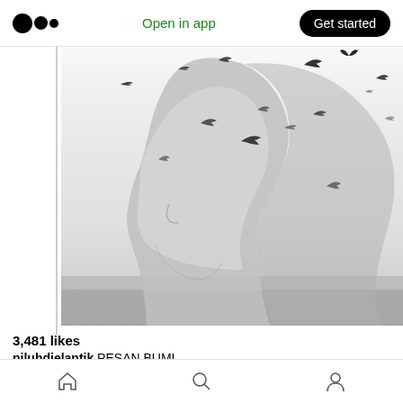Open in app | Get started
[Figure (photo): Black and white double-exposure photograph: silhouette of a woman's profile overlaid with birds flying in a sky with clouds and a distant horizon.]
3,481 likes
niluhdjelantik PESAN BUMI
Kita tertidur di satu dunia, dan terbangun di dunia lain
Home | Search | Profile